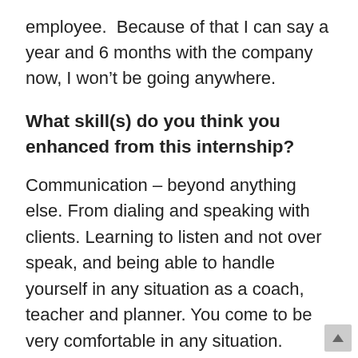employee.  Because of that I can say a year and 6 months with the company now, I won't be going anywhere.
What skill(s) do you think you enhanced from this internship?
Communication – beyond anything else. From dialing and speaking with clients. Learning to listen and not over speak, and being able to handle yourself in any situation as a coach, teacher and planner. You come to be very comfortable in any situation.  Especially with anything involvin...